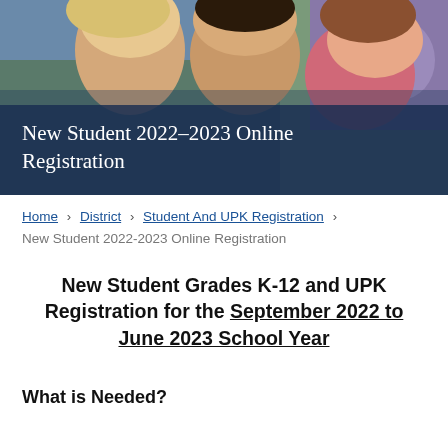[Figure (photo): Three children looking down at something together outdoors, with flowers in the background.]
New Student 2022-2023 Online Registration
Home › District › Student And UPK Registration ›
New Student 2022-2023 Online Registration
New Student Grades K-12 and UPK Registration for the September 2022 to June 2023 School Year
What is Needed?